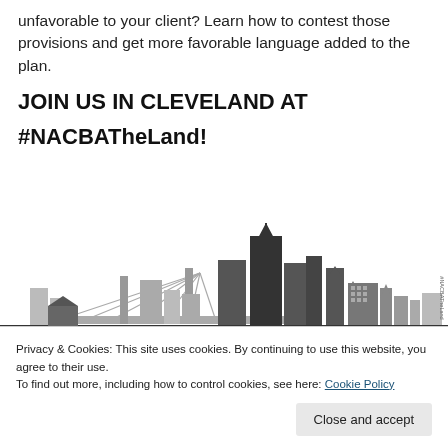unfavorable to your client? Learn how to contest those provisions and get more favorable language added to the plan.
JOIN US IN CLEVELAND AT
#NACBATheLand!
[Figure (illustration): Cleveland city skyline silhouette in black and gray tones, with bridge and buildings. Text at bottom reads NACBA'S 27TH ANNUAL CONVENTION.]
Privacy & Cookies: This site uses cookies. By continuing to use this website, you agree to their use.
To find out more, including how to control cookies, see here: Cookie Policy
Close and accept